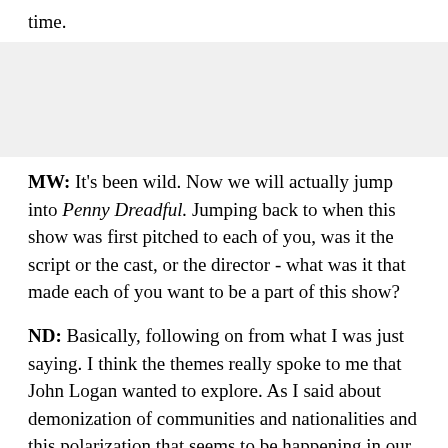time.
MW: It's been wild. Now we will actually jump into Penny Dreadful. Jumping back to when this show was first pitched to each of you, was it the script or the cast, or the director - what was it that made each of you want to be a part of this show?
ND: Basically, following on from what I was just saying. I think the themes really spoke to me that John Logan wanted to explore. As I said about demonization of communities and nationalities and this polarization that seems to be happening in our